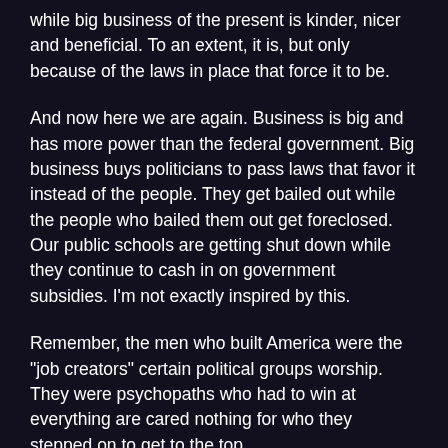while big business of the present is kinder, nicer and beneficial. To an extent, it is, but only because of the laws in place that force it to be.
And now here we are again. Business is big and has more power than the federal government. Big business buys politicians to pass laws that favor it instead of the people. They get bailed out while the people who bailed them out get foreclosed. Our public schools are getting shut down while they continue to cash in on government subsidies. I'm not exactly inspired by this.
Remember, the men who built America were the "job creators" certain political groups worship. They were psychopaths who had to win at everything are cared nothing for who they stepped on to get to the top.